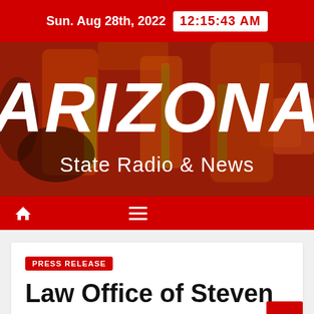Sun. Aug 28th, 2022  12:15:43 AM
[Figure (logo): Arizona State Radio & News logo on painted red/orange/green abstract background. Large italic white text 'ARIZONA' above 'State Radio & News' in white.]
PRESS RELEASE
Law Office of Steven